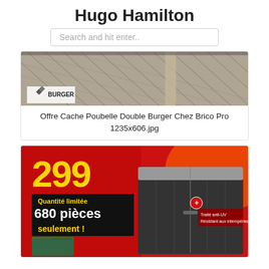Hugo Hamilton
Search and hit enter..
[Figure (photo): Photo of a wooden deck with diagonal plank pattern and a logo/text BURGER partially visible at the bottom]
Offre Cache Poubelle Double Burger Chez Brico Pro 1235x606.jpg
[Figure (photo): Promotional product image on red background: large yellow '299' price, 'Quantité limitée 680 pièces seulement!' text, and a dark grey outdoor storage bin/cache-poubelle]